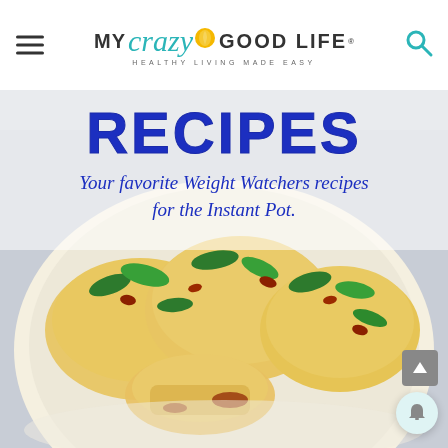MY crazy GOOD LIFE · HEALTHY LIVING MADE EASY
[Figure (photo): A plate of stuffed pasta or dumplings topped with fresh basil and sun-dried tomatoes, presented with text overlay reading 'RECIPES' and 'Your favorite Weight Watchers recipes for the Instant Pot.']